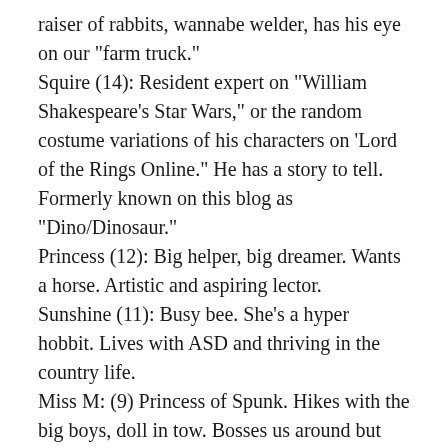raiser of rabbits, wannabe welder, has his eye on our "farm truck."
Squire (14): Resident expert on "William Shakespeare's Star Wars," or the random costume variations of his characters on 'Lord of the Rings Online." He has a story to tell. Formerly known on this blog as "Dino/Dinosaur."
Princess (12): Big helper, big dreamer. Wants a horse. Artistic and aspiring lector.
Sunshine (11): Busy bee. She's a hyper hobbit. Lives with ASD and thriving in the country life.
Miss M: (9) Princess of Spunk. Hikes with the big boys, doll in tow. Bosses us around but takes care of everybody.
Posey Pie (7): Dainty Darling. Future tour guide,